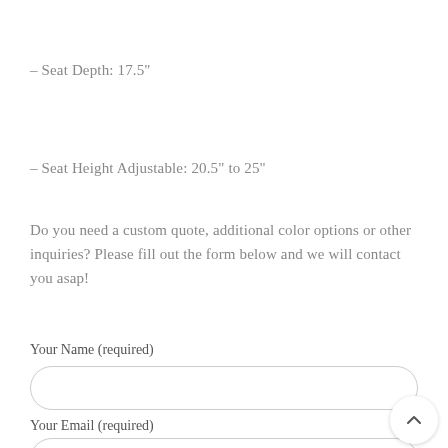– Seat Depth: 17.5"
– Seat Height Adjustable: 20.5" to 25"
Do you need a custom quote, additional color options or other inquiries? Please fill out the form below and we will contact you asap!
Your Name (required)
Your Email (required)